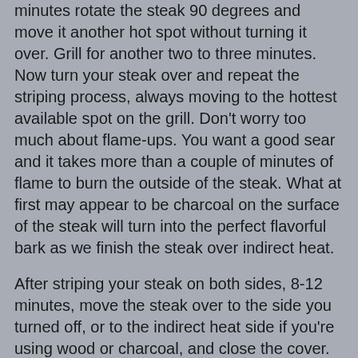minutes rotate the steak 90 degrees and move it another hot spot without turning it over. Grill for another two to three minutes. Now turn your steak over and repeat the striping process, always moving to the hottest available spot on the grill. Don't worry too much about flame-ups. You want a good sear and it takes more than a couple of minutes of flame to burn the outside of the steak. What at first may appear to be charcoal on the surface of the steak will turn into the perfect flavorful bark as we finish the steak over indirect heat.
After striping your steak on both sides, 8-12 minutes, move the steak over to the side you turned off, or to the indirect heat side if you're using wood or charcoal, and close the cover. Using an instant read thermometer, check the internal temperature from time to time at the thickest point of the steak about an inch from the bone. Continue cooking covered over indirect heat until the internal temperature reaches 127 degrees Fahrenheit for medium rare, 132 for medium, 137 for medium well and 142 for well done. Check the temperature every 3-5 minutes or so. Personally, I am of the opinion that a perfect steak must be cooked medium rare or why bother, but here you're on your own.